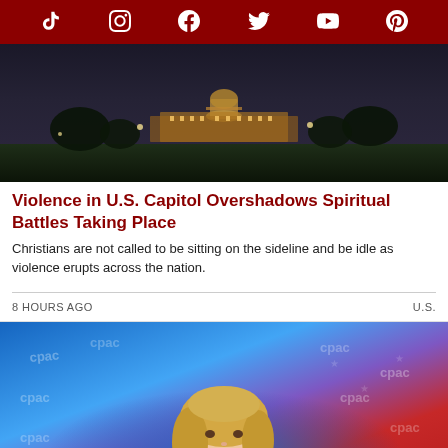Social media icons: TikTok, Instagram, Facebook, Twitter, YouTube, Pinterest
[Figure (photo): Nighttime photo of the U.S. Capitol building with lights glowing, green lawn in foreground, dark sky]
Violence in U.S. Capitol Overshadows Spiritual Battles Taking Place
Christians are not called to be sitting on the sideline and be idle as violence erupts across the nation.
8 HOURS AGO    U.S.
[Figure (photo): Blonde woman in blue outfit speaking at a podium, blue and red background with repeated 'cpac' or event logos, gesturing with her hand]